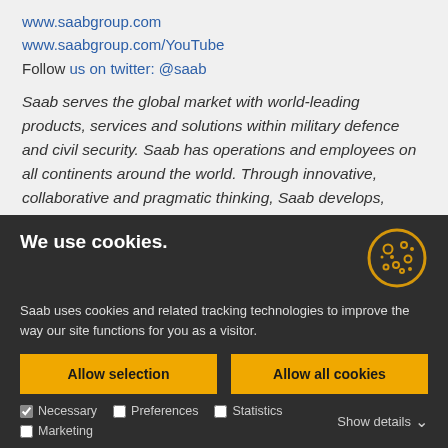www.saabgroup.com
www.saabgroup.com/YouTube
Follow us on twitter: @saab
Saab serves the global market with world-leading products, services and solutions within military defence and civil security. Saab has operations and employees on all continents around the world. Through innovative, collaborative and pragmatic thinking, Saab develops,
We use cookies.
[Figure (illustration): Cookie icon — circular golden outline with dots representing a cookie]
Saab uses cookies and related tracking technologies to improve the way our site functions for you as a visitor.
Allow selection | Allow all cookies
Necessary  Preferences  Statistics  Marketing  Show details